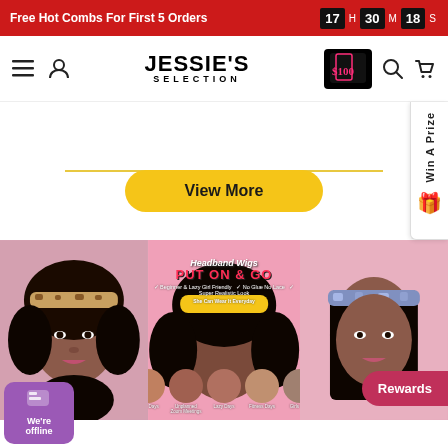Free Hot Combs For First 5 Orders  17 H 30 M 18 S
[Figure (screenshot): Jessie's Selection website navigation bar with hamburger menu, user icon, logo, $100 badge, search icon, and cart icon]
[Figure (screenshot): Middle content area with yellow horizontal line and gold 'View More' button, plus 'Win A Prize' side panel with gift icon]
[Figure (photo): Three-panel banner advertising Headband Wigs with 'PUT ON & GO' text, featuring women modeling headband wigs, with thumbnail images of use cases at bottom, offline chat widget and Rewards button overlaid]